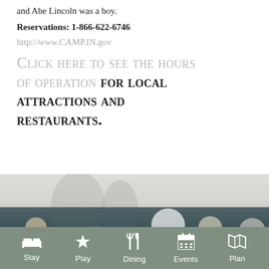and Abe Lincoln was a boy.
Reservations: 1-866-622-6746
http://www.CAMP.IN.gov
Click here to see the hours of operation FOR LOCAL ATTRACTIONS AND RESTAURANTS.
[Figure (photo): Background photo with bokeh light effects, transitioning from light grey at top to dark teal/navy at bottom with blurred colorful lights]
[Figure (infographic): Navigation bar with five icons and labels: Stay (bed icon), Play (star icon), Dining (fork and knife icon), Events (calendar icon), Plan (map icon). Olive/sage green background with white icons and text.]